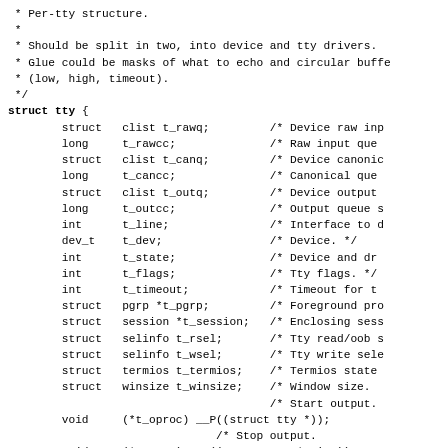* Per-tty structure.
 *
 * Should be split in two, into device and tty drivers.
 * Glue could be masks of what to echo and circular buffe
 * (low, high, timeout).
 */
struct tty {
	struct   clist t_rawq;         /* Device raw inp
	long     t_rawcc;              /* Raw input que
	struct   clist t_canq;         /* Device canonic
	long     t_cancc;              /* Canonical que
	struct   clist t_outq;         /* Device output
	long     t_outcc;              /* Output queue s
	int      t_line;               /* Interface to d
	dev_t    t_dev;                /* Device. */
	int      t_state;              /* Device and dr
	int      t_flags;              /* Tty flags. */
	int      t_timeout;            /* Timeout for t
	struct   pgrp *t_pgrp;         /* Foreground pro
	struct   session *t_session;   /* Enclosing sess
	struct   selinfo t_rsel;       /* Tty read/oob s
	struct   selinfo t_wsel;       /* Tty write sele
	struct   termios t_termios;    /* Termios state
	struct   winsize t_winsize;    /* Window size.
	                               /* Start output.
	void     (*t_oproc) __P((struct tty *));
	                               /* Stop output.
	void     (*t_stop) __P((struct tty *, int));
	                               /* Set hardware s
	int      (*t_param)  P((struct tty *, struct ter